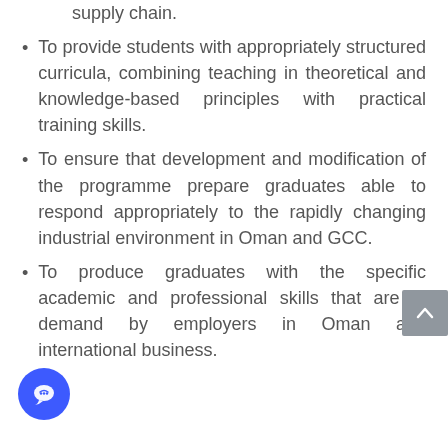supply chain.
To provide students with appropriately structured curricula, combining teaching in theoretical and knowledge-based principles with practical training skills.
To ensure that development and modification of the programme prepare graduates able to respond appropriately to the rapidly changing industrial environment in Oman and GCC.
To produce graduates with the specific academic and professional skills that are in demand by employers in Oman and international business.